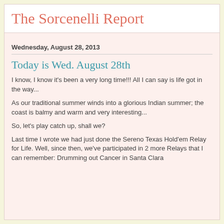The Sorcenelli Report
Wednesday, August 28, 2013
Today is Wed. August 28th
I know, I know it's been a very long time!!!  All I can say is life got in the way...
As our traditional summer winds into a glorious Indian summer;  the coast is balmy and warm and very interesting...
So, let's play catch up, shall we?
Last time I wrote we had just done the Sereno Texas Hold'em Relay for Life.  Well, since then, we've participated in 2 more Relays that I can remember:  Drumming out Cancer in Santa Clara